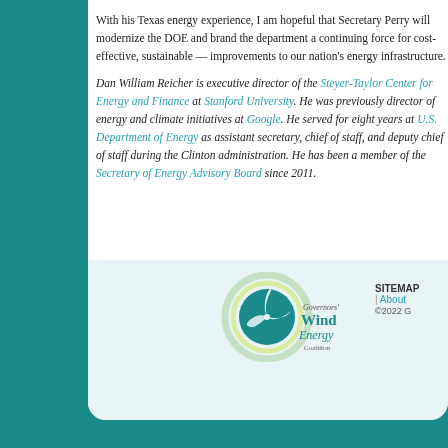With his Texas energy experience, I am hopeful that Secre[tary Perry will modernize the] DOE and brand the department a continuing force for cost[-effective,] sustainable — improvements to our nation's energy infras[tructure.]
Dan William Reicher is executive director of the Steyer-Ta[ylor Center for Energy and] Finance at Stanford University. He was previously director [of energy and climate initiatives] at Google. He served for eight years at U.S. Department o[f Energy as assistant secretary,] chief of staff, and deputy chief of staff during the Clinton a[dministration. He has been a] member of the Secretary of Energy Advisory Board since [2011.]
[Figure (logo): Governors' Wind Energy Coalition logo with wind turbine graphic and circular design in teal, green, and yellow colors]
SITEMAP | About ©2022 G[overnors' Wind Energy Coalition]